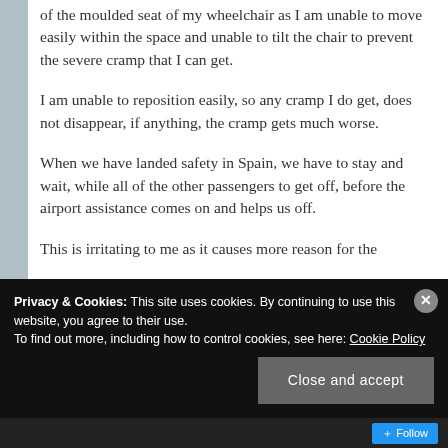of the moulded seat of my wheelchair as I am unable to move easily within the space and unable to tilt the chair to prevent the severe cramp that I can get.
I am unable to reposition easily, so any cramp I do get, does not disappear, if anything, the cramp gets much worse.
When we have landed safety in Spain, we have to stay and wait, while all of the other passengers to get off, before the airport assistance comes on and helps us off.
This is irritating to me as it causes more reason for the
Privacy & Cookies: This site uses cookies. By continuing to use this website, you agree to their use.
To find out more, including how to control cookies, see here: Cookie Policy
Close and accept